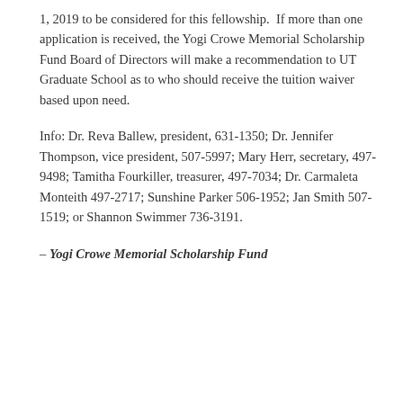1, 2019 to be considered for this fellowship. If more than one application is received, the Yogi Crowe Memorial Scholarship Fund Board of Directors will make a recommendation to UT Graduate School as to who should receive the tuition waiver based upon need.
Info: Dr. Reva Ballew, president, 631-1350; Dr. Jennifer Thompson, vice president, 507-5997; Mary Herr, secretary, 497-9498; Tamitha Fourkiller, treasurer, 497-7034; Dr. Carmaleta Monteith 497-2717; Sunshine Parker 506-1952; Jan Smith 507-1519; or Shannon Swimmer 736-3191.
– Yogi Crowe Memorial Scholarship Fund